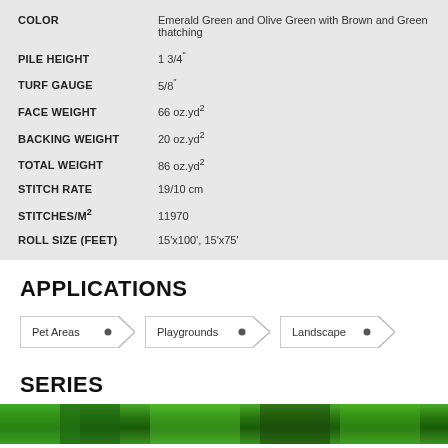| Property | Value |
| --- | --- |
| COLOR | Emerald Green and Olive Green with Brown and Green thatching |
| PILE HEIGHT | 1 3/4" |
| TURF GAUGE | 5/8" |
| FACE WEIGHT | 66 oz.yd² |
| BACKING WEIGHT | 20 oz.yd² |
| TOTAL WEIGHT | 86 oz.yd² |
| STITCH RATE | 19/10 cm |
| STITCHES/M² | 11970 |
| ROLL SIZE (FEET) | 15'x100', 15'x75' |
APPLICATIONS
Pet Areas
Playgrounds
Landscape
SERIES
[Figure (photo): Green turf/grass image at bottom of page]